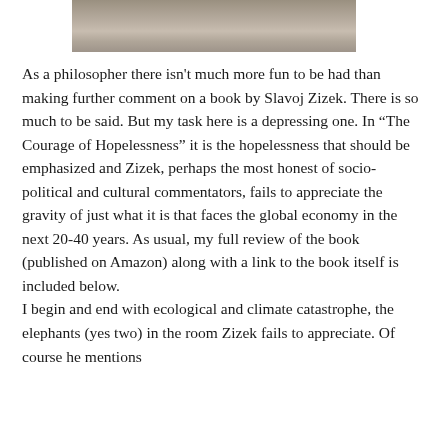[Figure (photo): Partial photograph of a person, cropped at top of page showing clothing/torso area in muted tones]
As a philosopher there isn't much more fun to be had than making further comment on a book by Slavoj Zizek. There is so much to be said. But my task here is a depressing one. In “The Courage of Hopelessness” it is the hopelessness that should be emphasized and Zizek, perhaps the most honest of socio-political and cultural commentators, fails to appreciate the gravity of just what it is that faces the global economy in the next 20-40 years. As usual, my full review of the book (published on Amazon) along with a link to the book itself is included below.
I begin and end with ecological and climate catastrophe, the elephants (yes two) in the room Zizek fails to appreciate. Of course he mentions